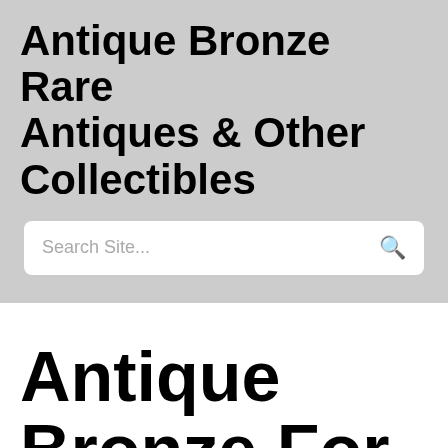Antique Bronze Rare Antiques & Other Collectibles
Search Site...
Antique Bronze For